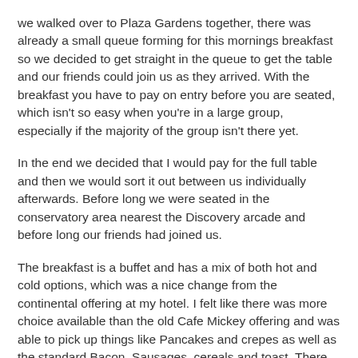we walked over to Plaza Gardens together, there was already a small queue forming for this mornings breakfast so we decided to get straight in the queue to get the table and our friends could join us as they arrived. With the breakfast you have to pay on entry before you are seated, which isn't so easy when you're in a large group, especially if the majority of the group isn't there yet.
In the end we decided that I would pay for the full table and then we would sort it out between us individually afterwards. Before long we were seated in the conservatory area nearest the Discovery arcade and before long our friends had joined us.
The breakfast is a buffet and has a mix of both hot and cold options, which was a nice change from the continental offering at my hotel. I felt like there was more choice available than the old Cafe Mickey offering and was able to pick up things like Pancakes and crepes as well as the standard Bacon, Sausages, cereals and toast. There was also a selection of Hot drinks and fruit juices available.